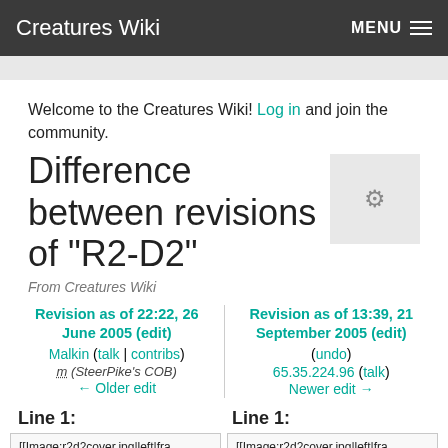Creatures Wiki   MENU
Welcome to the Creatures Wiki! Log in and join the community.
Difference between revisions of "R2-D2"
From Creatures Wiki
| Left | Right |
| --- | --- |
| Revision as of 22:22, 26 June 2005 (edit) | Revision as of 13:39, 21 September 2005 (edit) (undo) |
| Malkin (talk | contribs) | 65.35.224.96 (talk) |
| m (SteerPike's COB) |  |
| ← Older edit | Newer edit → |
| Line 1: | Line 1: |
| --- | --- |
| [[Image:r2d2cover.jpg|left|frame]]The '"R2-D2 Interactive | [[Image:r2d2cover.jpg|left|frame]]The '"R2-D2 Interactive |